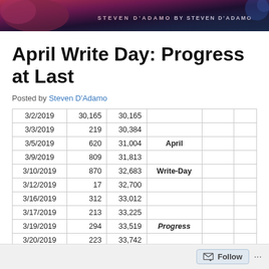Steven D'Adamo / By Steven D'Adamo
April Write Day: Progress at Last
Posted by Steven D'Adamo
|  |  |  |  |  |  |
| --- | --- | --- | --- | --- | --- |
| 3/2/2019 | 30,165 | 30,165 |  |  |  |
| 3/3/2019 | 219 | 30,384 |  |  |  |
| 3/5/2019 | 620 | 31,004 | April |  |  |
| 3/9/2019 | 809 | 31,813 |  |  |  |
| 3/10/2019 | 870 | 32,683 | Write-Day |  |  |
| 3/12/2019 | 17 | 32,700 |  |  |  |
| 3/16/2019 | 312 | 33,012 |  |  |  |
| 3/17/2019 | 213 | 33,225 |  |  |  |
| 3/19/2019 | 294 | 33,519 | Progress |  |  |
| 3/20/2019 | 223 | 33,742 |  |  |  |
| 3/24/2019 | 548 | 34,290 | At |  |  |
| 3/25/2019 | ... | 34,??? |  |  |  |